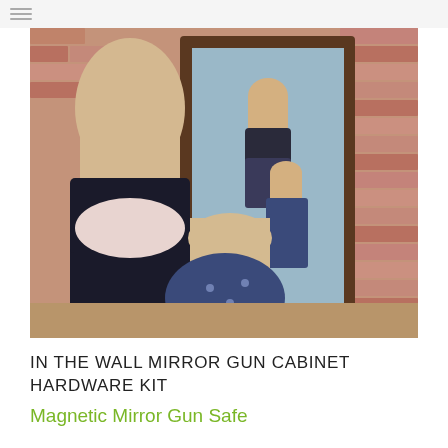[Figure (photo): A woman with long blonde hair in a black top kneels behind a young girl with blonde hair in a blue floral dress, both facing a large ornate wooden-framed mirror mounted on a brick wall. The mirror reflects both of them smiling.]
IN THE WALL MIRROR GUN CABINET HARDWARE KIT
Magnetic Mirror Gun Safe